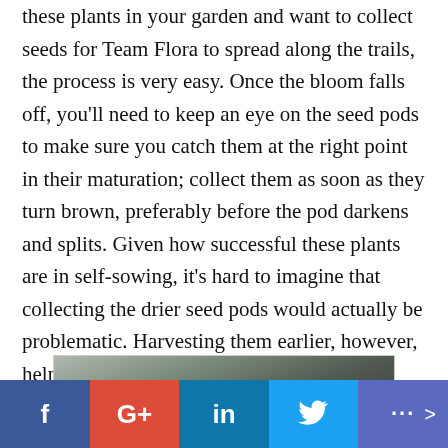these plants in your garden and want to collect seeds for Team Flora to spread along the trails, the process is very easy. Once the bloom falls off, you'll need to keep an eye on the seed pods to make sure you catch them at the right point in their maturation; collect them as soon as they turn brown, preferably before the pod darkens and splits. Given how successful these plants are in self-sowing, it's hard to imagine that collecting the drier seed pods would actually be problematic. Harvesting them earlier, however, helps you avoid collecting crumbling pods along with the seeds.
[Figure (photo): Partial photo of what appears to be a hand or plant element against a speckled background, partially visible at bottom of page.]
f  G+  in  🐦  ···  >